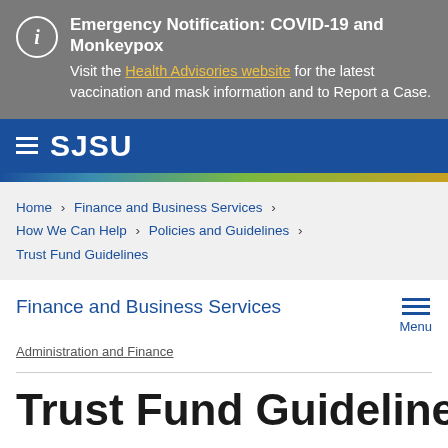Emergency Notification: COVID-19 and Monkeypox
Visit the Health Advisories website for the latest vaccination and mask information and to Report a Case.
[Figure (logo): SJSU logo with hamburger menu icon on blue navigation bar]
[Figure (infographic): Decorative gradient stripe (blue to gold)]
Home > Finance and Business Services > How We Can Help > Policies and Guidelines > Trust Fund Guidelines
Finance and Business Services
Administration and Finance
Trust Fund Guidelines